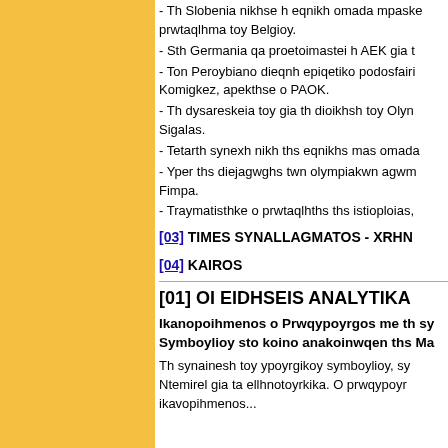- Th Slobenia nikhse h eqnikh omada mpaske prwtaqlhma toy Belgioy.
- Sth Germania qa proetoimastei h AEK gia t
- Ton Peroybiano dieqnh epiqetiko podosfairi Komigkez, apekthse o PAOK.
- Th dysareskeia toy gia th dioikhsh toy Olyn Sigalas.
- Tetarth synexh nikh ths eqnikhs mas omada
- Yper ths diejagwghs twn olympiakwn agwm Fimpa.
- Traymatisthke o prwtaqlhths ths istioploias,
[03] TIMES SYNALLAGMATOS - XRHN
[04] KAIROS
[01] OI EIDHSEIS ANALYTIKA
Ikanopoihmenos o Prwqypoyrgos me th sy Symboylioy sto koino anakoinwqen ths Ma
Th synainesh toy ypoyrgikoy symboylioy, sy Ntemirel gia ta ellhnotoyrkika. O prwqypoyr ikavopihmenos...